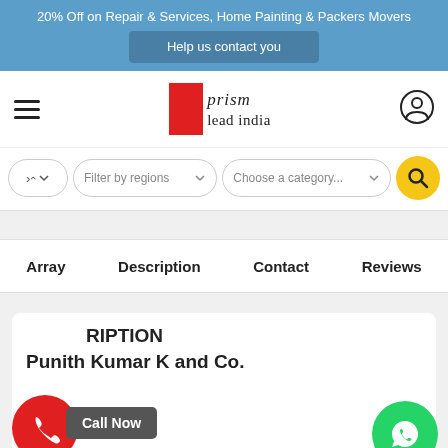20% Off on Repair & Services, Home Painting & Packers Movers
Help us contact you
[Figure (logo): Prism Lead India logo with red rectangle and serif text]
Filter by regions | Choose a category...
Array   Description   Contact   Reviews
DESCRIPTION
Call Now
Punith Kumar K and Co.